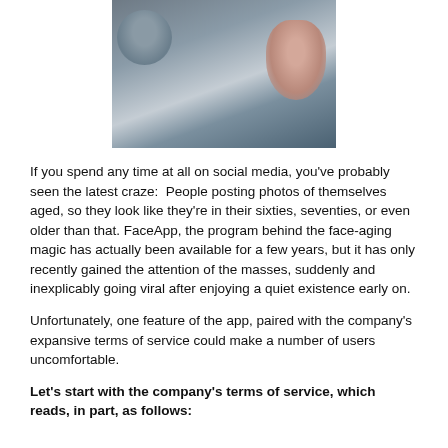[Figure (photo): A woman looking out a window, with a partial reflection of an older man visible in the glass. Muted tones of grey, blue and skin tones.]
If you spend any time at all on social media, you've probably seen the latest craze:  People posting photos of themselves aged, so they look like they're in their sixties, seventies, or even older than that. FaceApp, the program behind the face-aging magic has actually been available for a few years, but it has only recently gained the attention of the masses, suddenly and inexplicably going viral after enjoying a quiet existence early on.
Unfortunately, one feature of the app, paired with the company's expansive terms of service could make a number of users uncomfortable.
Let's start with the company's terms of service, which reads, in part, as follows: